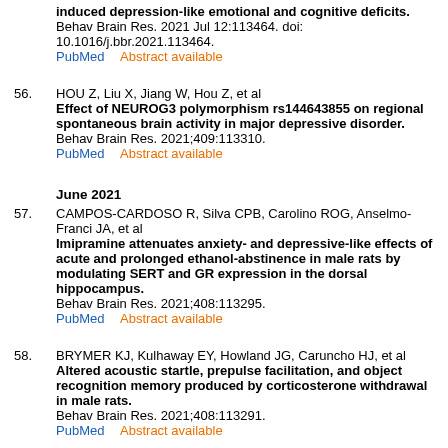induced depression-like emotional and cognitive deficits. Behav Brain Res. 2021 Jul 12:113464. doi: 10.1016/j.bbr.2021.113464. PubMed   Abstract available
56. HOU Z, Liu X, Jiang W, Hou Z, et al Effect of NEUROG3 polymorphism rs144643855 on regional spontaneous brain activity in major depressive disorder. Behav Brain Res. 2021;409:113310. PubMed   Abstract available
June 2021
57. CAMPOS-CARDOSO R, Silva CPB, Carolino ROG, Anselmo-Franci JA, et al Imipramine attenuates anxiety- and depressive-like effects of acute and prolonged ethanol-abstinence in male rats by modulating SERT and GR expression in the dorsal hippocampus. Behav Brain Res. 2021;408:113295. PubMed   Abstract available
58. BRYMER KJ, Kulhaway EY, Howland JG, Caruncho HJ, et al Altered acoustic startle, prepulse facilitation, and object recognition memory produced by corticosterone withdrawal in male rats. Behav Brain Res. 2021;408:113291. PubMed   Abstract available